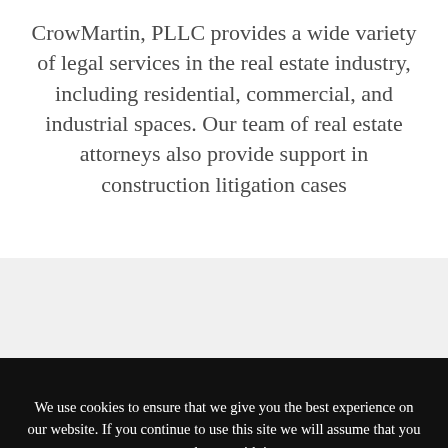CrowMartin, PLLC provides a wide variety of legal services in the real estate industry, including residential, commercial, and industrial spaces. Our team of real estate attorneys also provide support in construction litigation cases
We use cookies to ensure that we give you the best experience on our website. If you continue to use this site we will assume that you are happy with it.